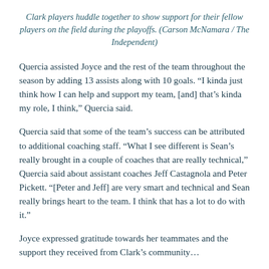Clark players huddle together to show support for their fellow players on the field during the playoffs. (Carson McNamara / The Independent)
Quercia assisted Joyce and the rest of the team throughout the season by adding 13 assists along with 10 goals. “I kinda just think how I can help and support my team, [and] that’s kinda my role, I think,” Quercia said.
Quercia said that some of the team’s success can be attributed to additional coaching staff. “What I see different is Sean’s really brought in a couple of coaches that are really technical,” Quercia said about assistant coaches Jeff Castagnola and Peter Pickett. “[Peter and Jeff] are very smart and technical and Sean really brings heart to the team. I think that has a lot to do with it.”
Joyce expressed gratitude towards her teammates and the support they received from Clark’s community…